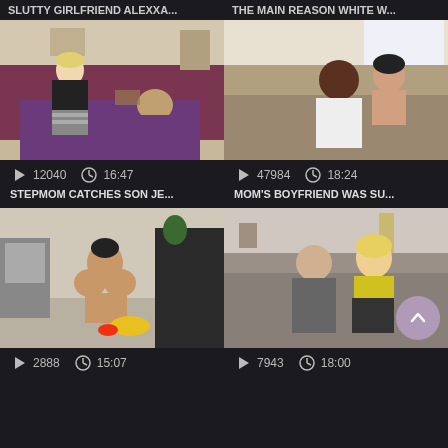SLUTTY GIRLFRIEND ALEXXA...
THE MAIN REASON WHITE W...
[Figure (photo): Video thumbnail: woman in black top and man in bed with purple sheets]
[Figure (photo): Video thumbnail: man in white shirt and woman on couch]
12040   16:47
47984   18:24
STEPMOM CATCHES SON JE...
MOM'S BOYFRIEND WAS SU...
[Figure (photo): Video thumbnail: woman sitting on bed]
[Figure (photo): Video thumbnail: man and woman on couch, woman in yellow top]
2888   15:07
7943   18:00